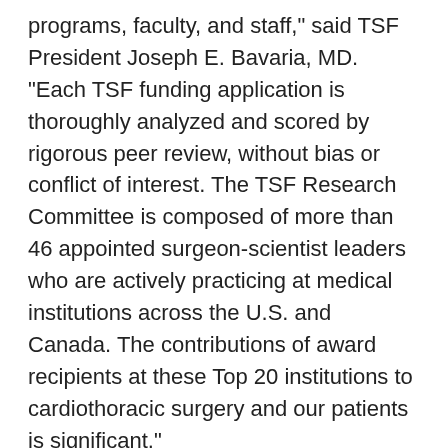programs, faculty, and staff," said TSF President Joseph E. Bavaria, MD. "Each TSF funding application is thoroughly analyzed and scored by rigorous peer review, without bias or conflict of interest. The TSF Research Committee is composed of more than 46 appointed surgeon-scientist leaders who are actively practicing at medical institutions across the U.S. and Canada. The contributions of award recipients at these Top 20 institutions to cardiothoracic surgery and our patients is significant."
The Foundation's 2022 Award cycle launched on July 1, 2021. TSF welcomes applications from qualified cardiothoracic surgeons and residents, employed at any institution with a cardiothoracic surgery program. Award offerings and applications can be accessed at www.thoracicsurgeryfoundation.org/awards. The deadline for most TSF Award applications is